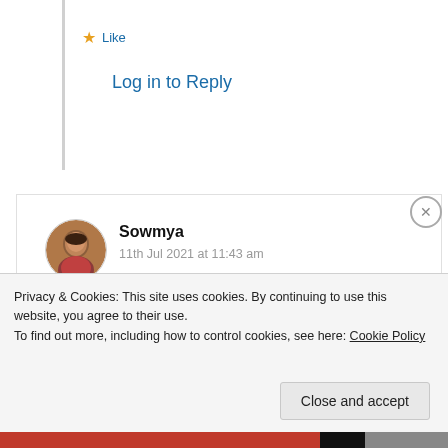★ Like
Log in to Reply
Sowmya
11th Jul 2021 at 11:43 am
[Figure (photo): Circular avatar photo of a woman]
Wonderful and thoughtful reminder Suma about seeking God's grace in every situation of life. Loved the way you ended the post with a beautiful
Privacy & Cookies: This site uses cookies. By continuing to use this website, you agree to their use. To find out more, including how to control cookies, see here: Cookie Policy
Close and accept